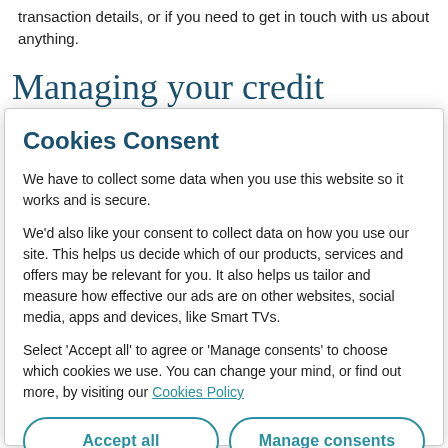transaction details, or if you need to get in touch with us about anything.
Managing your credit
Cookies Consent
We have to collect some data when you use this website so it works and is secure.
We'd also like your consent to collect data on how you use our site. This helps us decide which of our products, services and offers may be relevant for you. It also helps us tailor and measure how effective our ads are on other websites, social media, apps and devices, like Smart TVs.
Select 'Accept all' to agree or 'Manage consents' to choose which cookies we use. You can change your mind, or find out more, by visiting our Cookies Policy
Accept all
Manage consents